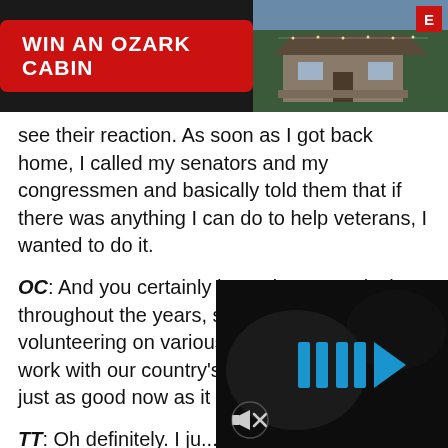[Figure (photo): Advertisement banner: WIN AN OZARK CABIN on dark background with cabin photo on right]
see their reaction. As soon as I got back home, I called my senators and my congressmen and basically told them that if there was anything I can do to help veterans, I wanted to do it.
OC: And you certainly have done exactly that throughout the years, serving and volunteering on various organizations that work with our country's veterans. Does it feel just as good now as it did then?
TT: Oh definitely. I ju... to give back. I've bee... so to be able to offer... that they have done...
[Figure (screenshot): Dark video player overlay with blue fast-forward/play icons and mute icon]